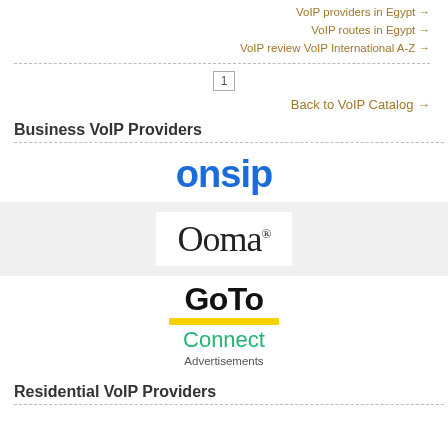VoIP providers in Egypt →
VoIP routes in Egypt →
VoIP review VoIP International A-Z →
1
Back to VoIP Catalog →
Business VoIP Providers
[Figure (logo): OnSIP logo in blue bold text]
[Figure (logo): Ooma logo in black serif text inside white box on gray background]
[Figure (logo): GoTo Connect logo with yellow underline and green Connect text, followed by Advertisements label]
Residential VoIP Providers